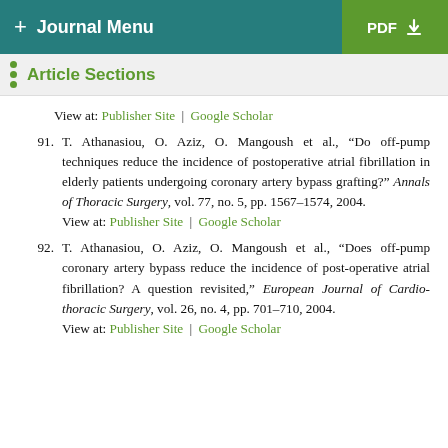+ Journal Menu | PDF
Article Sections
View at: Publisher Site | Google Scholar
91. T. Athanasiou, O. Aziz, O. Mangoush et al., “Do off-pump techniques reduce the incidence of postoperative atrial fibrillation in elderly patients undergoing coronary artery bypass grafting?” Annals of Thoracic Surgery, vol. 77, no. 5, pp. 1567–1574, 2004.
View at: Publisher Site | Google Scholar
92. T. Athanasiou, O. Aziz, O. Mangoush et al., “Does off-pump coronary artery bypass reduce the incidence of post-operative atrial fibrillation? A question revisited,” European Journal of Cardio-thoracic Surgery, vol. 26, no. 4, pp. 701–710, 2004.
View at: Publisher Site | Google Scholar